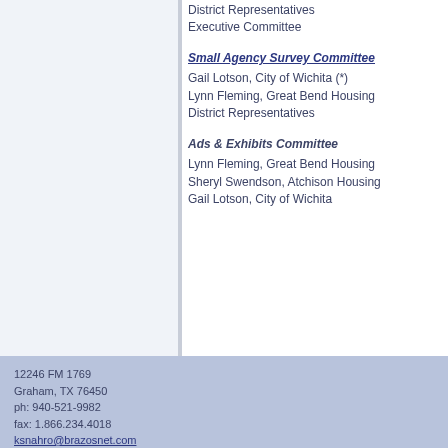District Representatives
Executive Committee
Small Agency Survey Committee
Gail Lotson, City of Wichita (*)
Lynn Fleming, Great Bend Housing
District Representatives
Ads & Exhibits Committee
Lynn Fleming, Great Bend Housing
Sheryl Swendson, Atchison Housing
Gail Lotson, City of Wichita
12246 FM 1769
Graham, TX 76450
ph: 940-521-9982
fax: 1.866.234.4018
ksnahro@brazosnet.com